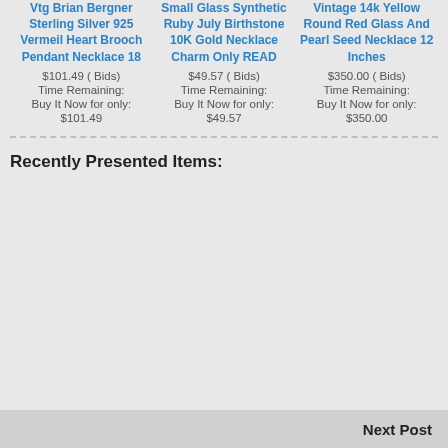Vtg Brian Bergner Sterling Silver 925 Vermeil Heart Brooch Pendant Necklace 18 | $101.49 ( Bids) | Time Remaining: | Buy It Now for only: | $101.49
Small Glass Synthetic Ruby July Birthstone 10K Gold Necklace Charm Only READ | $49.57 ( Bids) | Time Remaining: | Buy It Now for only: | $49.57
Vintage 14k Yellow Round Red Glass And Pearl Seed Necklace 12 Inches | $350.00 ( Bids) | Time Remaining: | Buy It Now for only: | $350.00
Recently Presented Items:
Next Post